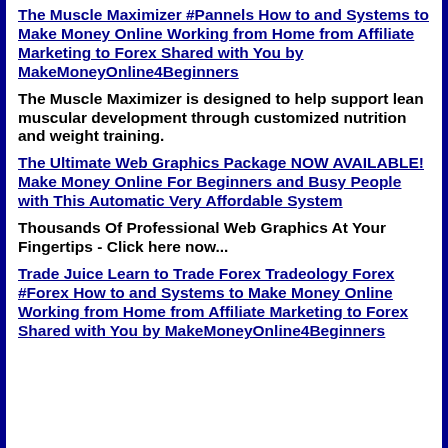The Muscle Maximizer #Pannels How to and Systems to Make Money Online Working from Home from Affiliate Marketing to Forex Shared with You by MakeMoneyOnline4Beginners
The Muscle Maximizer is designed to help support lean muscular development through customized nutrition and weight training.
The Ultimate Web Graphics Package NOW AVAILABLE! Make Money Online For Beginners and Busy People with This Automatic Very Affordable System
Thousands Of Professional Web Graphics At Your Fingertips - Click here now...
Trade Juice Learn to Trade Forex Tradeology Forex #Forex How to and Systems to Make Money Online Working from Home from Affiliate Marketing to Forex Shared with You by MakeMoneyOnline4Beginners